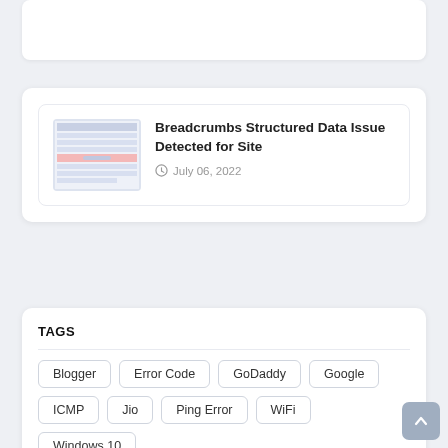[Figure (screenshot): Partially visible white card at top of page]
[Figure (screenshot): Article card with thumbnail image of a screenshot showing a data/spreadsheet interface with pink highlighted row, linking to article about Breadcrumbs Structured Data Issue]
Breadcrumbs Structured Data Issue Detected for Site
July 06, 2022
TAGS
Blogger
Error Code
GoDaddy
Google
ICMP
Jio
Ping Error
WiFi
Windows 10